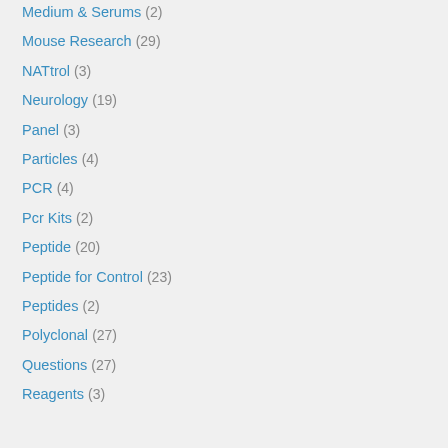Medium & Serums (2)
Mouse Research (29)
NATtrol (3)
Neurology (19)
Panel (3)
Particles (4)
PCR (4)
Pcr Kits (2)
Peptide (20)
Peptide for Control (23)
Peptides (2)
Polyclonal (27)
Questions (27)
Reagents (3)